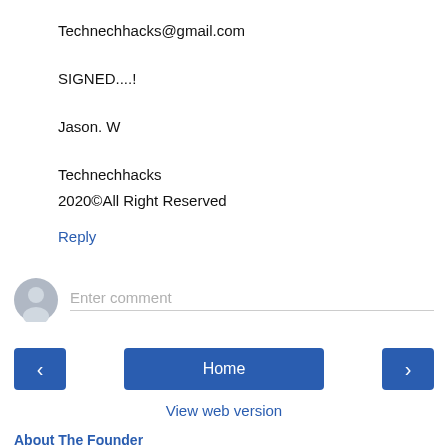Technechhacks@gmail.com
SIGNED....!
Jason. W
Technechhacks
2020©All Right Reserved
Reply
[Figure (other): User avatar icon (grey silhouette) next to an Enter comment input field]
Home
View web version
About The Founder